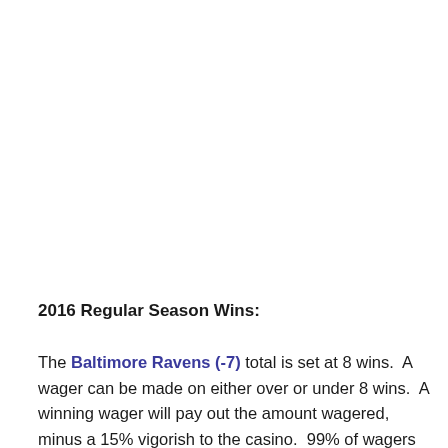2016 Regular Season Wins:
The Baltimore Ravens (-7) total is set at 8 wins.  A wager can be made on either over or under 8 wins.  A winning wager will pay out the amount wagered, minus a 15% vigorish to the casino.  99% of wagers made so